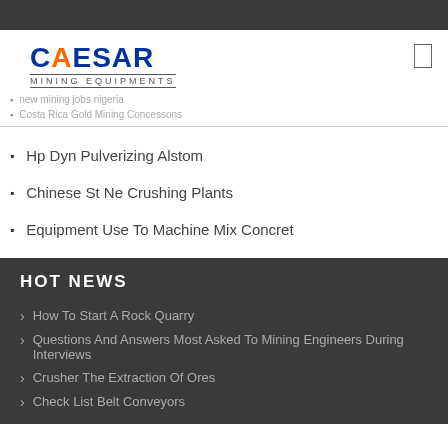[Figure (logo): Caesar Mining Equipments logo with blue and orange lettering]
Hp Dyn Pulverizing Alstom
Chinese St Ne Crushing Plants
Equipment Use To Machine Mix Concret
HOT NEWS
How To Start A Rock Quarry
Questions And Answers Most Asked To Mining Engineers During Interviews
Crusher The Extraction Of Ores
Check List Belt Conveyors